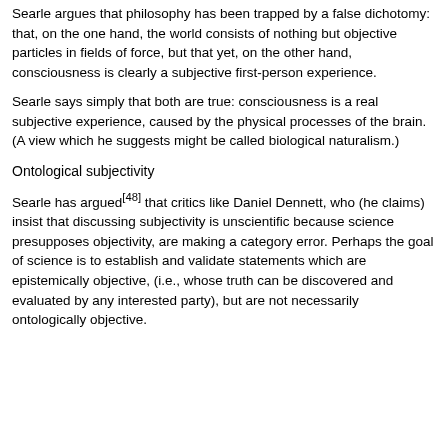Searle argues that philosophy has been trapped by a false dichotomy: that, on the one hand, the world consists of nothing but objective particles in fields of force, but that yet, on the other hand, consciousness is clearly a subjective first-person experience.
Searle says simply that both are true: consciousness is a real subjective experience, caused by the physical processes of the brain. (A view which he suggests might be called biological naturalism.)
Ontological subjectivity
Searle has argued[48] that critics like Daniel Dennett, who (he claims) insist that discussing subjectivity is unscientific because science presupposes objectivity, are making a category error. Perhaps the goal of science is to establish and validate statements which are epistemically objective, (i.e., whose truth can be discovered and evaluated by any interested party), but are not necessarily ontologically objective.